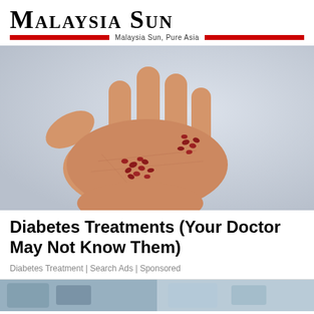Malaysia Sun — Malaysia Sun, Pure Asia
[Figure (photo): A hand with palm open holding small red seeds/berries scattered across it, on a light gray-blue background.]
Diabetes Treatments (Your Doctor May Not Know Them)
Diabetes Treatment | Search Ads | Sponsored
[Figure (photo): Partial view of a second image strip at the bottom of the page, blurred/cropped.]